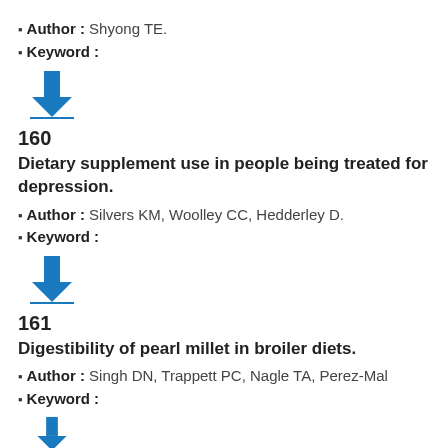Author : Shyong TE.
Keyword :
[Figure (other): Blue downward arrow with horizontal line beneath, indicating a download or collapse action]
160
Dietary supplement use in people being treated for depression.
Author : Silvers KM, Woolley CC, Hedderley D.
Keyword :
[Figure (other): Blue downward arrow with horizontal line beneath, indicating a download or collapse action]
161
Digestibility of pearl millet in broiler diets.
Author : Singh DN, Trappett PC, Nagle TA, Perez-Mal
Keyword :
[Figure (other): Blue downward arrow with horizontal line beneath (partially visible)]